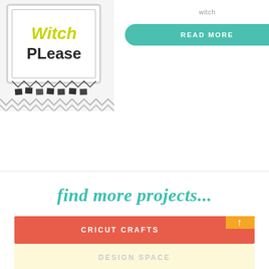[Figure (photo): Craft photo showing a white framed sign with 'witch please' text in yellow and black, with a black chevron banner below.]
witch
READ MORE
find more projects...
CRICUT CRAFTS
DESIGN SPACE